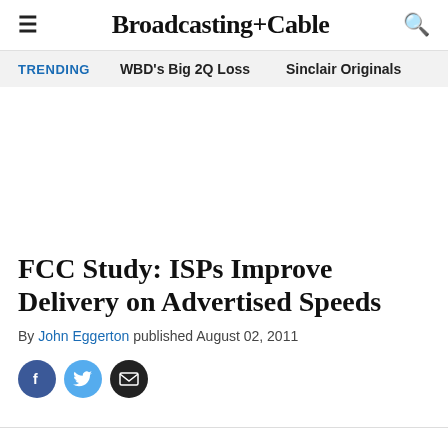Broadcasting+Cable
TRENDING   WBD's Big 2Q Loss   Sinclair Originals
FCC Study: ISPs Improve Delivery on Advertised Speeds
By John Eggerton published August 02, 2011